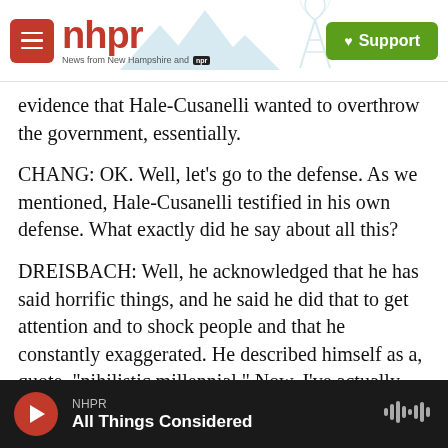nhpr — News from New Hampshire and NPR | Support
evidence that Hale-Cusanelli wanted to overthrow the government, essentially.
CHANG: OK. Well, let's go to the defense. As we mentioned, Hale-Cusanelli testified in his own defense. What exactly did he say about all this?
DREISBACH: Well, he acknowledged that he has said horrific things, and he said he did that to get attention and to shock people and that he constantly exaggerated. He described himself as a, quote, "nihilistic millennial." Now, I've actually been following this case for more than a year. And today,
NHPR — All Things Considered